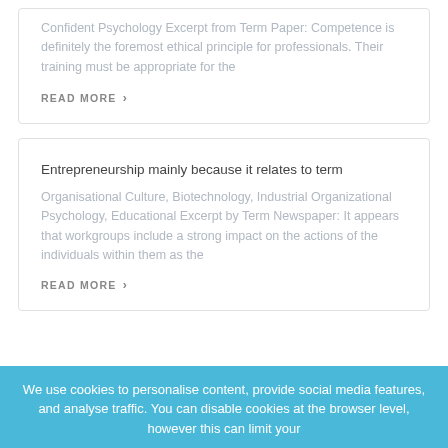Confident Psychology Excerpt from Term Paper: Competence is definitely the foremost ethical principle for professionals. Their training must be appropriate for the
READ MORE ›
Entrepreneurship mainly because it relates to term
Organisational Culture, Biotechnology, Industrial Organizational Psychology, Educational Excerpt by Term Newspaper: It appears that workgroups include a strong impact on the actions of the individuals within them as the
READ MORE ›
We use cookies to personalise content, provide social media features, and analyse traffic. You can disable cookies at the browser level, however this can limit your